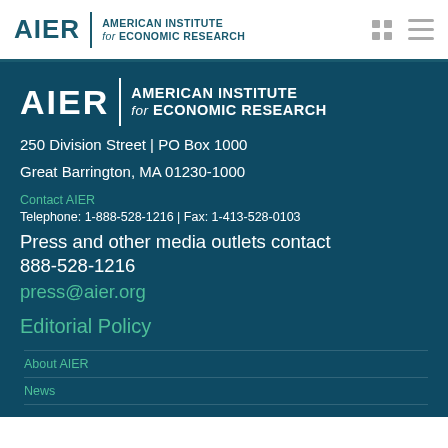AIER | AMERICAN INSTITUTE for ECONOMIC RESEARCH
[Figure (logo): AIER American Institute for Economic Research logo in dark teal on white background]
250 Division Street | PO Box 1000
Great Barrington, MA 01230-1000
Contact AIER
Telephone: 1-888-528-1216 | Fax: 1-413-528-0103
Press and other media outlets contact
888-528-1216
press@aier.org
Editorial Policy
About AIER
News